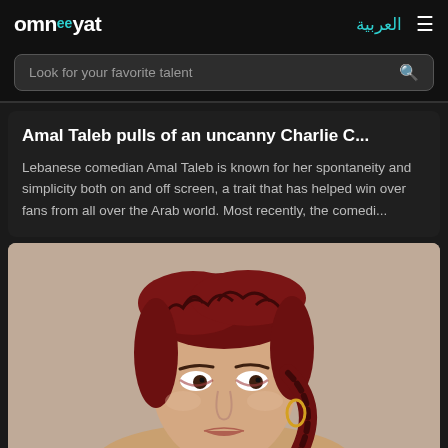omn??yat  العربية
Look for your favorite talent
Amal Taleb pulls of an uncanny Charlie C...
Lebanese comedian Amal Taleb is known for her spontaneity and simplicity both on and off screen, a trait that has helped win over fans from all over the Arab world. Most recently, the comedi...
[Figure (photo): Portrait photo of a woman with red braids pulled back, wearing gold earrings, against a beige/taupe background]